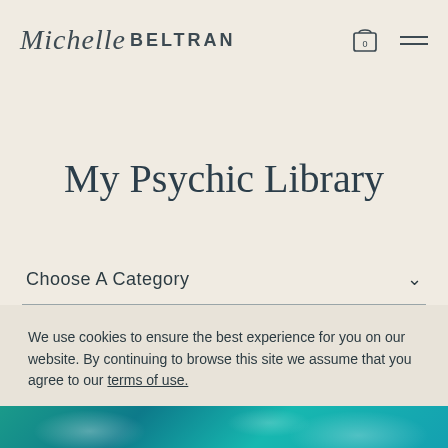Michelle BELTRAN
My Psychic Library
Choose A Category
We use cookies to ensure the best experience for you on our website. By continuing to browse this site we assume that you agree to our terms of use.
Cookie settings  ACCEPT
[Figure (photo): Teal and turquoise smoke or mist abstract background image at bottom of page]